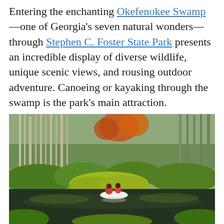Entering the enchanting Okefenokee Swamp—one of Georgia's seven natural wonders—through Stephen C. Foster State Park presents an incredible display of diverse wildlife, unique scenic views, and rousing outdoor adventure. Canoeing or kayaking through the swamp is the park's main attraction.
[Figure (photo): Two people canoeing through the Okefenokee Swamp, surrounded by tall trees, green vegetation, and calm dark water with reflections. Autumn foliage visible in background.]